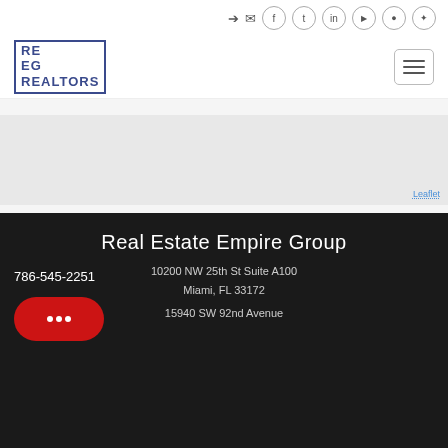Social media icons: login, email, facebook, twitter, linkedin, youtube, instagram, pinterest
[Figure (logo): REEG logo with blue border and text RE EG]
[Figure (screenshot): Hamburger menu icon button]
[Figure (map): Gray map area placeholder (Leaflet map)]
Leaflet
Real Estate Empire Group
10200 NW 25th St Suite A100
Miami, FL 33172
786-545-2251
15940 SW 92nd Avenue